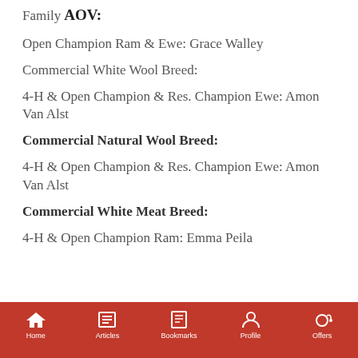Family
AOV:
Open Champion Ram & Ewe: Grace Walley
Commercial White Wool Breed:
4-H & Open Champion & Res. Champion Ewe: Amon Van Alst
Commercial Natural Wool Breed:
4-H & Open Champion & Res. Champion Ewe: Amon Van Alst
Commercial White Meat Breed:
4-H & Open Champion Ram: Emma Peila
Home  Articles  Bookmarks  Profile  Offers